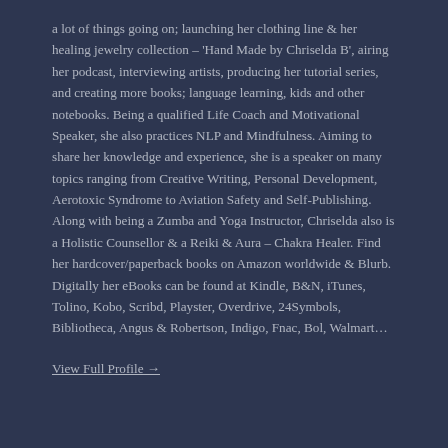a lot of things going on; launching her clothing line & her healing jewelry collection – 'Hand Made by Chriselda B', airing her podcast, interviewing artists, producing her tutorial series, and creating more books; language learning, kids and other notebooks. Being a qualified Life Coach and Motivational Speaker, she also practices NLP and Mindfulness. Aiming to share her knowledge and experience, she is a speaker on many topics ranging from Creative Writing, Personal Development, Aerotoxic Syndrome to Aviation Safety and Self-Publishing. Along with being a Zumba and Yoga Instructor, Chriselda also is a Holistic Counsellor & a Reiki & Aura – Chakra Healer. Find her hardcover/paperback books on Amazon worldwide & Blurb. Digitally her eBooks can be found at Kindle, B&N, iTunes, Tolino, Kobo, Scribd, Playster, Overdrive, 24Symbols, Bibliotheca, Angus & Robertson, Indigo, Fnac, Bol, Walmart…
View Full Profile →